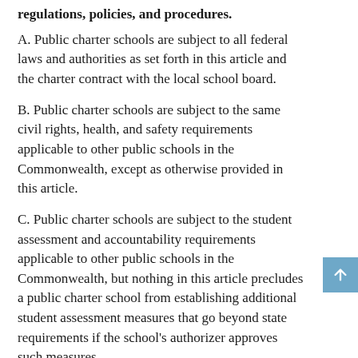regulations, policies, and procedures.
A. Public charter schools are subject to all federal laws and authorities as set forth in this article and the charter contract with the local school board.
B. Public charter schools are subject to the same civil rights, health, and safety requirements applicable to other public schools in the Commonwealth, except as otherwise provided in this article.
C. Public charter schools are subject to the student assessment and accountability requirements applicable to other public schools in the Commonwealth, but nothing in this article precludes a public charter school from establishing additional student assessment measures that go beyond state requirements if the school's authorizer approves such measures.
D. Management committees of public charter schools are subject to and shall comply with the Virginia Freedom of Information Act (§ 2.2-3700 et seq.).